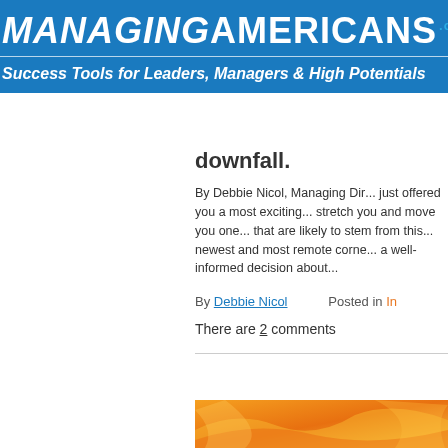[Figure (logo): ManagingAmericans.com logo with blue background, white bold text showing MANAGING AMERICANS with .com superscript, and tagline 'Success Tools for Leaders, Managers & High Potentials' in white italic]
downfall.
By Debbie Nicol, Managing Dir... just offered you a most exciting... stretch you and move you one... that are likely to stem from this... newest and most remote corne... a well-informed decision about...
By Debbie Nicol   Posted in In...
There are 2 comments
[Figure (illustration): Orange decorative image with swirling patterns, partially visible at bottom of page]